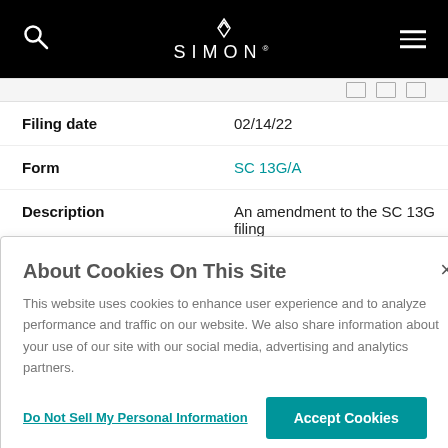SIMON
| Field | Value |
| --- | --- |
| Filing date | 02/14/22 |
| Form | SC 13G/A |
| Description | An amendment to the SC 13G filing |
| Filing Group | Other |
About Cookies On This Site
This website uses cookies to enhance user experience and to analyze performance and traffic on our website. We also share information about your use of our site with our social media, advertising and analytics partners.
Do Not Sell My Personal Information | Accept Cookies